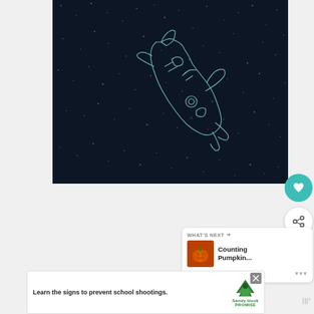[Figure (illustration): Dark navy blue starfield background with a hand-drawn style outline illustration of a space shuttle or rocket ship in light blue/white lines, positioned diagonally in the center of the image]
[Figure (illustration): Teal circular heart/like button icon]
[Figure (illustration): White circular share button with network share icon]
[Figure (other): What's Next panel showing a pumpkin thumbnail and text 'Counting Pumpkin...' with navigation dots]
[Figure (other): Advertisement banner: 'Learn the signs to prevent school shootings.' with Sandy Hook Promise logo (green tree)]